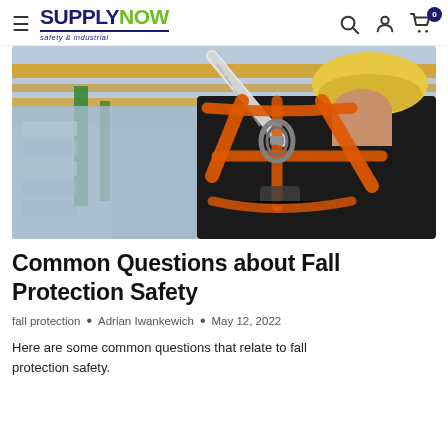SUPPLYNOW safety & industrial — navigation header with menu, search, account, and cart icons
[Figure (photo): Back view of a worker wearing a yellow hard hat and an orange safety harness with a metal carabiner clip attached to a white rope, in an industrial warehouse setting with green columns and yellow overhead beams]
Common Questions about Fall Protection Safety
fall protection • Adrian Iwankewich • May 12, 2022
Here are some common questions that relate to fall protection safety.